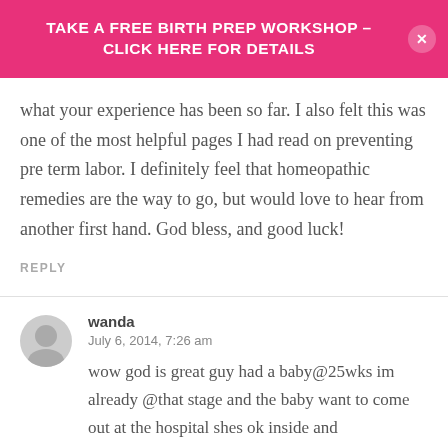TAKE A FREE BIRTH PREP WORKSHOP - CLICK HERE FOR DETAILS
what your experience has been so far. I also felt this was one of the most helpful pages I had read on preventing pre term labor. I definitely feel that homeopathic remedies are the way to go, but would love to hear from another first hand. God bless, and good luck!
REPLY
wanda
July 6, 2014, 7:26 am
wow god is great guy had a baby@25wks im already @that stage and the baby want to come out at the hospital shes ok inside and